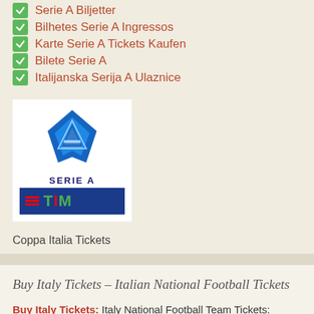Serie A Biljetter
Bilhetes Serie A Ingressos
Karte Serie A Tickets Kaufen
Bilete Serie A
Italijanska Serija A Ulaznice
[Figure (logo): Serie A TIM logo — blue geometric diamond/arrow shape above text SERIE A and a dark blue bar with red lines and TIM text in green/red/green]
Coppa Italia Tickets
Buy Italy Tickets – Italian National Football Tickets
Buy Italy Tickets: Italy National Football Team Tickets: Friendly games, FIFA World Cup